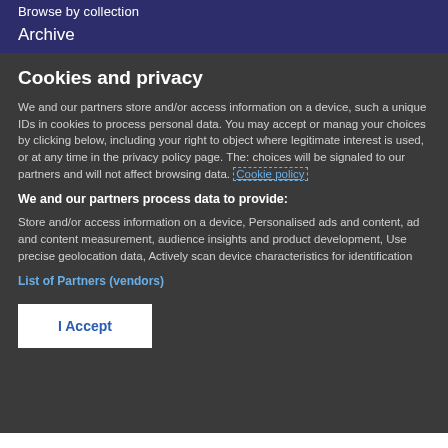Browse by collection
Archive
Cookies and privacy
We and our partners store and/or access information on a device, such as unique IDs in cookies to process personal data. You may accept or manage your choices by clicking below, including your right to object where legitimate interest is used, or at any time in the privacy policy page. These choices will be signaled to our partners and will not affect browsing data. Cookie policy
We and our partners process data to provide:
Store and/or access information on a device, Personalised ads and content, ad and content measurement, audience insights and product development, Use precise geolocation data, Actively scan device characteristics for identification
List of Partners (vendors)
I Accept